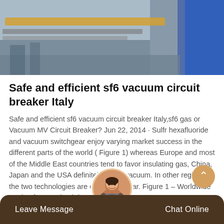[Figure (photo): Industrial/factory setting photo showing pipes and equipment with a person in a blue jacket on the right side]
Safe and efficient sf6 vacuum circuit breaker Italy
Safe and efficient sf6 vacuum circuit breaker Italy,sf6 gas or Vacuum MV Circuit Breaker? Jun 22, 2014 · Sulfr hexafluoride and vacuum switchgear enjoy varying market success in the different parts of the world ( Figure 1) whereas Europe and most of the Middle East countries tend to favor insulating gas, China, Japan and the USA definitely prefer vacuum. In other regions, the two technologies are equally popular. Figure 1 – Worldwide market for MV circuit-breakers by region.
Leave Message  Chat Online